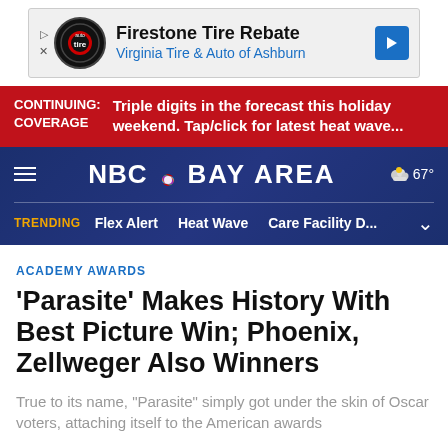[Figure (screenshot): Advertisement banner for Firestone Tire Rebate at Virginia Tire & Auto of Ashburn with logo and blue arrow]
CONTINUING COVERAGE: Triple digits in the forecast this holiday weekend. Tap/click for latest heat wave...
[Figure (logo): NBC Bay Area navigation header with hamburger menu, NBC peacock logo, BAY AREA text, weather icon 67°, trending bar with Flex Alert, Heat Wave, Care Facility D...]
ACADEMY AWARDS
'Parasite' Makes History With Best Picture Win; Phoenix, Zellweger Also Winners
True to its name, "Parasite" simply got under the skin of Oscar voters, attaching itself to the American awards